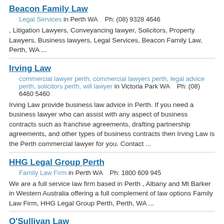Beacon Family Law
Legal Services in Perth WA    Ph: (08) 9328 4646
, Litigation Lawyers, Conveyancing lawyer, Solicitors, Property Lawyers, Business lawyers, Legal Services, Beacon Family Law, Perth, WA ...
Irving Law
commercial lawyer perth, commercial lawyers perth, legal advice perth, solicitors perth, will lawyer in Victoria Park WA    Ph: (08) 6460 5460
Irving Law provide business law advice in Perth. If you need a business lawyer who can assist with any aspect of business contracts such as franchise agreements, drafting partnership agreements, and other types of business contracts then Irving Law is the Perth commercial lawyer for you. Contact ...
HHG Legal Group Perth
Family Law Firm in Perth WA    Ph: 1800 609 945
We are a full service law firm based in Perth , Albany and Mt Barker in Western Australia offering a full complement of law options Family Law Firm, HHG Legal Group Perth, Perth, WA ...
O'Sullivan Law
Family Lawyer, Lawyer, Lawyers, Legal Services, Solicitor in Nedlands WA    Ph: 08 6389 0305
O'Sullivan law Perth's family lawyers. Get the right advice when you need it.